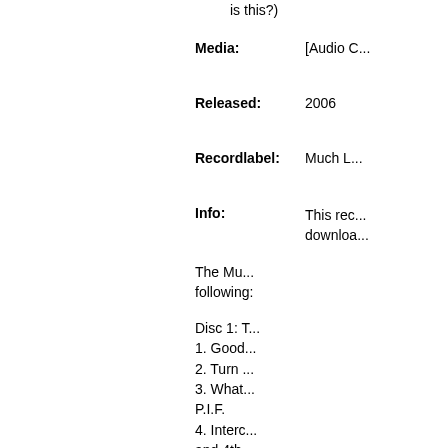is this?
Media: [Audio C...
Released: 2006
Recordlabel: Much L...
Info: This rec... download... The Mu... following... Disc 1: T... 1. Good 2. Turn 3. What P.I.F. 4. Interc and 4th 5. Rock Tony Stone 6. Shou Holy Gh 7. What 8. What R-Swift 9. Simp Remedy 10. My S 11. Wol Remna...